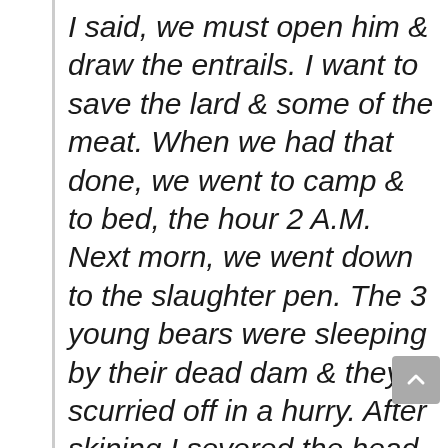I said, we must open him & draw the entrails. I want to save the lard & some of the meat. When we had that done, we went to camp & to bed, the hour 2 A.M. Next morn, we went down to the slaughter pen. The 3 young bears were sleeping by their dead dam & they scurried off in a hurry. After skining I severed the head & put it on a high rock, intending later to clean & take it below when I should go